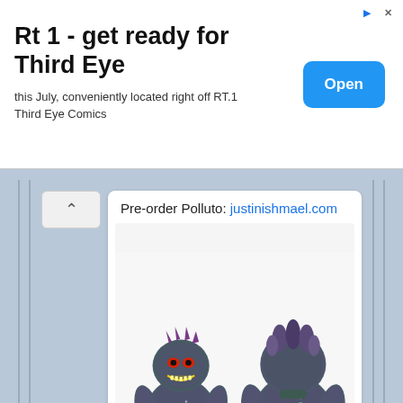[Figure (infographic): Advertisement banner with text 'Rt 1 - get ready for Third Eye' and subtitle 'this July, conveniently located right off RT.1 Third Eye Comics' with a blue 'Open' button on the right]
Pre-order Polluto: justinishmael.com
[Figure (photo): Two views (front and back) of a painted monster toy figure called Polluto — a dark grey/purple creature with colorful star and shape decorations, clawed feet, red boots, and a tail. Branded with 'DAN' logo at bottom.]